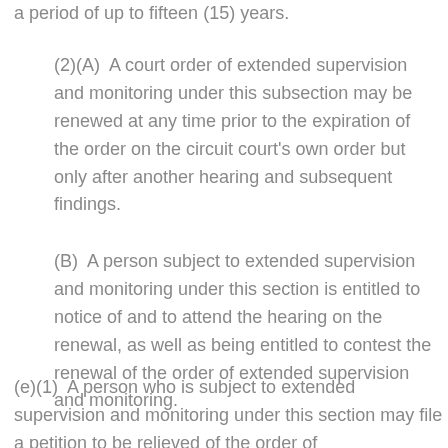a period of up to fifteen (15) years.
(2)(A)  A court order of extended supervision and monitoring under this subsection may be renewed at any time prior to the expiration of the order on the circuit court's own order but only after another hearing and subsequent findings.
(B)  A person subject to extended supervision and monitoring under this section is entitled to notice of and to attend the hearing on the renewal, as well as being entitled to contest the renewal of the order of extended supervision and monitoring.
(e)(1)  A person who is subject to extended supervision and monitoring under this section may file a petition to be relieved of the order of